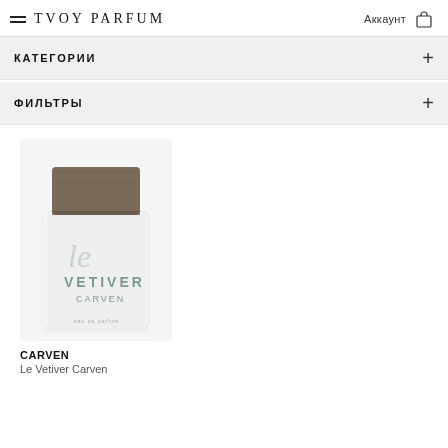TVOY PARFUM — Аккаунт
КАТЕГОРИИ
ФИЛЬТРЫ
[Figure (photo): White perfume bottle with wooden cap labeled 'le VETIVER CARVEN', eau de parfum]
CARVEN
Le Vetiver Carven